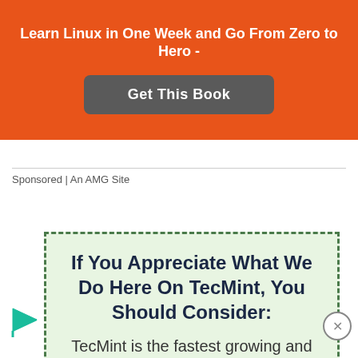Learn Linux in One Week and Go From Zero to Hero -
Get This Book
Sponsored | An AMG Site
If You Appreciate What We Do Here On TecMint, You Should Consider:
TecMint is the fastest growing and